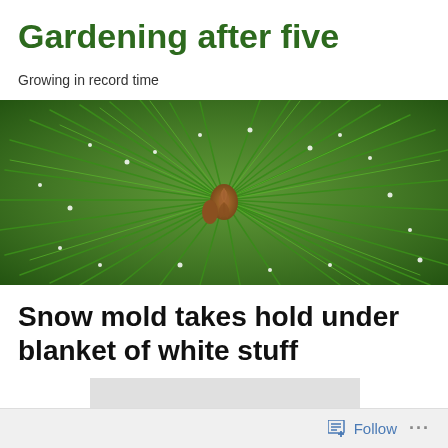Gardening after five
Growing in record time
[Figure (photo): Close-up photo of pine needles with small white dots (possibly snow or insects) and brown pine bud at center]
Snow mold takes hold under blanket of white stuff
[Figure (photo): Photo of snow-covered grass showing snow mold damage underneath]
Follow ...